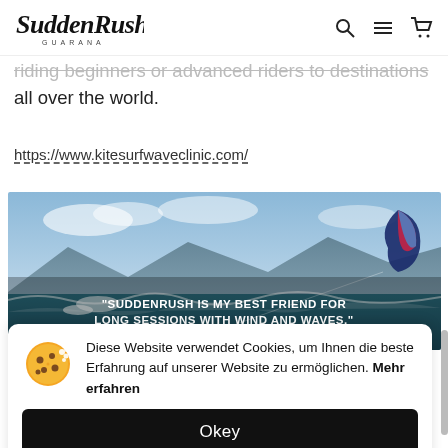SuddenRush Guarana
riding beginners or advanced riders to destinations all over the world.
https://www.kitesurfwaveclinic.com/
[Figure (photo): Kitesurfing banner photo with text: "SUDDENRUSH IS MY BEST FRIEND FOR LONG SESSIONS WITH WIND AND WAVES." — Marc Ramsaler, Kitesurf Pro]
Diese Website verwendet Cookies, um Ihnen die beste Erfahrung auf unserer Website zu ermöglichen. Mehr erfahren
Okey